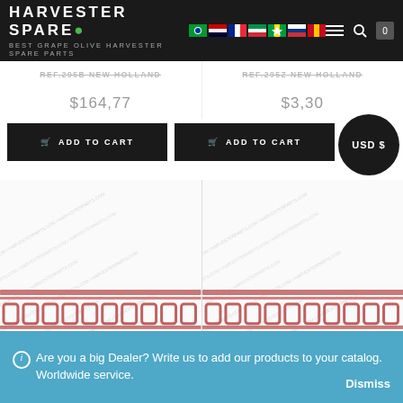HARVESTER SPARES - BEST GRAPE OLIVE HARVESTER SPARE PARTS
REF.295B NEW HOLLAND
REF.295Z NEW HOLLAND
$164,77
$3,30
ADD TO CART
ADD TO CART
USD $
[Figure (photo): Harvester spare parts with watermark - pink/red rod components]
[Figure (photo): Harvester spare parts with watermark - pink/red rod components]
This website uses cookies to improve your experience. We'll assume
Are you a big Dealer? Write us to add our products to your catalog. Worldwide service.
Dismiss